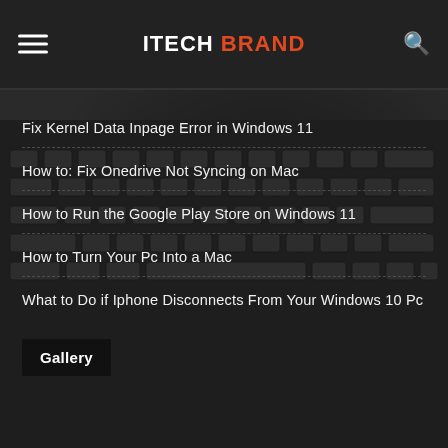ITECH BRAND
Fix Kernel Data Inpage Error in Windows 11
How to: Fix Onedrive Not Syncing on Mac
How to Run the Google Play Store on Windows 11
How to Turn Your Pc Into a Mac
What to Do if Iphone Disconnects From Your Windows 10 Pc
Gallery